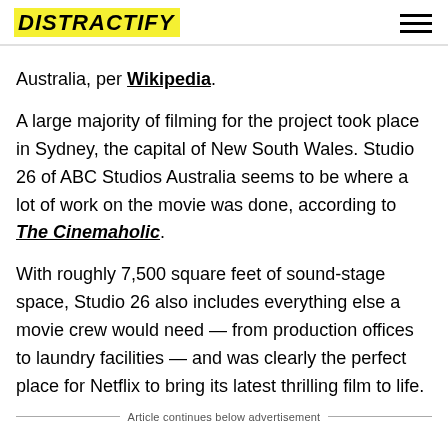DISTRACTIFY
Australia, per Wikipedia.
A large majority of filming for the project took place in Sydney, the capital of New South Wales. Studio 26 of ABC Studios Australia seems to be where a lot of work on the movie was done, according to The Cinemaholic.
With roughly 7,500 square feet of sound-stage space, Studio 26 also includes everything else a movie crew would need — from production offices to laundry facilities — and was clearly the perfect place for Netflix to bring its latest thrilling film to life.
Article continues below advertisement